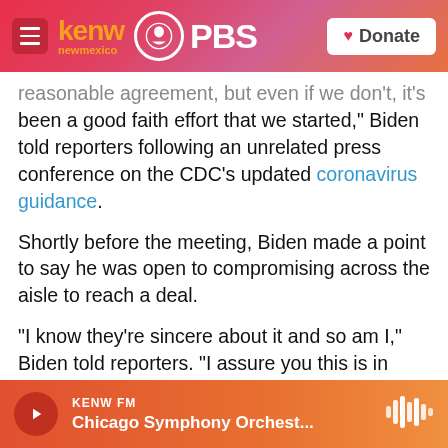KENW New Mexico PBS — Donate
reasonable agreement, but even if we don't, it's been a good faith effort that we started," Biden told reporters following an unrelated press conference on the CDC's updated coronavirus guidance.
Shortly before the meeting, Biden made a point to say he was open to compromising across the aisle to reach a deal.
"I know they're sincere about it and so am I," Biden told reporters. "I assure you this is in good faith, it's a genuine effort. I think we can get there."
Biden met with several Senate Republicans
KENW FM — Chicago Symphony Orchest...